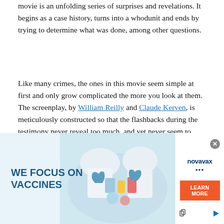movie is an unfolding series of surprises and revelations. It begins as a case history, turns into a whodunit and ends by trying to determine what was done, among other questions.
Like many crimes, the ones in this movie seem simple at first and only grow complicated the more you look at them. The screenplay, by William Reilly and Claude Kerven, is meticulously constructed so that the flashbacks during the testimony never reveal too much, and yet never seem to conceal anything. Nor is the screenplay simply ingenious; it is also very funny, in a mordant and blood-soaked way, as these two women scheme and figure and lie to the cops, to each other and to themselves. There is a banality to their language and images that sets the correct tone.
[Figure (illustration): Advertisement banner for Novavax vaccines. Left portion shows text 'WE FOCUS ON VACCINES' in bold blue on light blue background with scientists/lab workers visible. Right side panel shows Novavax logo and an orange 'LEARN MORE' button.]